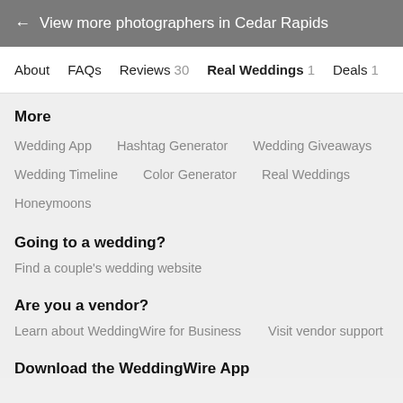← View more photographers in Cedar Rapids
About   FAQs   Reviews 30   Real Weddings 1   Deals 1
More
Wedding App
Hashtag Generator
Wedding Giveaways
Wedding Timeline
Color Generator
Real Weddings
Honeymoons
Going to a wedding?
Find a couple's wedding website
Are you a vendor?
Learn about WeddingWire for Business   Visit vendor support
Download the WeddingWire App